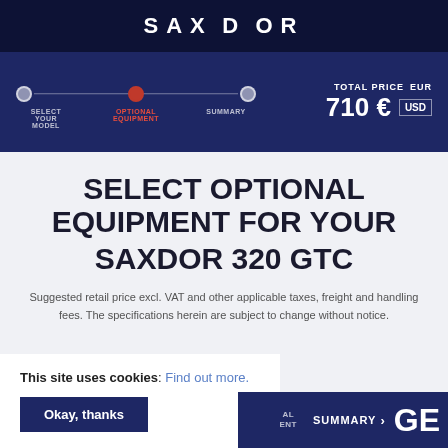SAXDOR
[Figure (infographic): Navigation progress bar with three steps: SELECT YOUR MODEL, OPTIONAL EQUIPMENT (active, in red), SUMMARY. Total Price displayed as EUR 710 € with USD option.]
SELECT OPTIONAL EQUIPMENT FOR YOUR SAXDOR 320 GTC
Suggested retail price excl. VAT and other applicable taxes, freight and handling fees. The specifications herein are subject to change without notice.
This site uses cookies: Find out more.
Okay, thanks